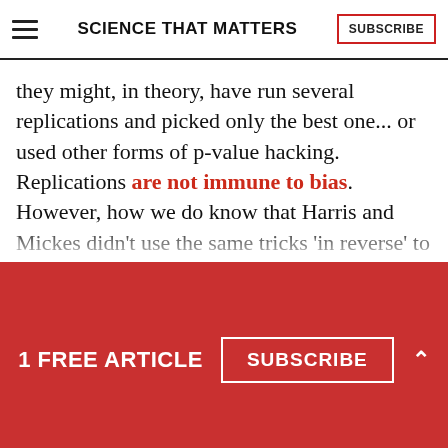SCIENCE THAT MATTERS
they might, in theory, have run several replications and picked only the best one... or used other forms of p-value hacking. Replications are not immune to bias. However, how we do know that Harris and Mickes didn't use the same tricks 'in reverse' to get a null result? It's easy to forget that questionable research practices can work both ways. P-values can be hacked up as well as down, and although the former may be less common, it's no less...
1 FREE ARTICLE  SUBSCRIBE